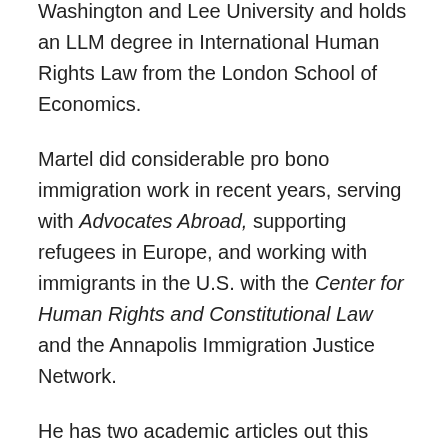Washington and Lee University and holds an LLM degree in International Human Rights Law from the London School of Economics.
Martel did considerable pro bono immigration work in recent years, serving with Advocates Abroad, supporting refugees in Europe, and working with immigrants in the U.S. with the Center for Human Rights and Constitutional Law and the Annapolis Immigration Justice Network.
He has two academic articles out this year. One, Racism and Bigotry as Grounds for Impeachment, was published in volume 45 of the NYU Review of